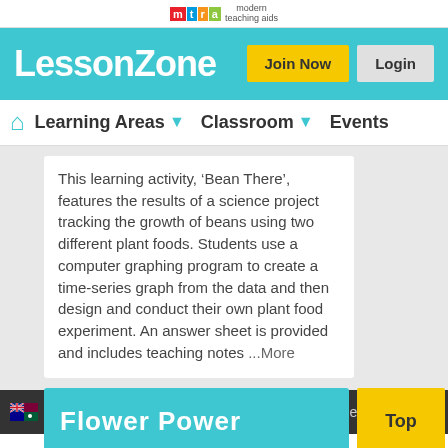mta modern teaching aids
[Figure (logo): LessonZone logo with Join Now and Login buttons on teal background]
[Figure (screenshot): Navigation bar with home icon, Learning Areas, Classroom, Events]
This learning activity, ‘Bean There’, features the results of a science project tracking the growth of beans using two different plant foods. Students use a computer graphing program to create a time-series graph from the data and then design and conduct their own plant food experiment. An answer sheet is provided and includes teaching notes ...More
Flower Power
About Us  Lesson Zone  Help